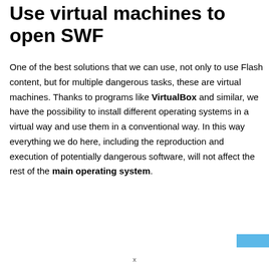Use virtual machines to open SWF
One of the best solutions that we can use, not only to use Flash content, but for multiple dangerous tasks, these are virtual machines. Thanks to programs like VirtualBox and similar, we have the possibility to install different operating systems in a virtual way and use them in a conventional way. In this way everything we do here, including the reproduction and execution of potentially dangerous software, will not affect the rest of the main operating system.